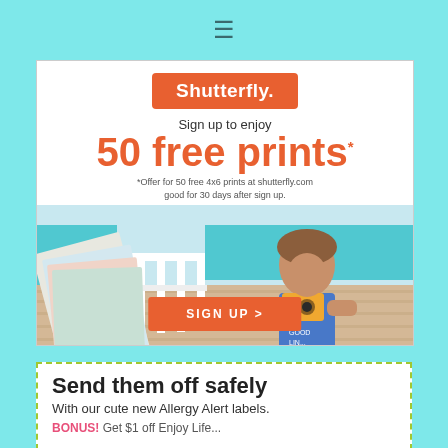[Figure (screenshot): Shutterfly advertisement showing '50 free prints' offer with a child holding a camera, sign up button, and Shutterfly logo]
Send them off safely
With our cute new Allergy Alert labels.
BONUS! Get $1 off Enjoy Life...